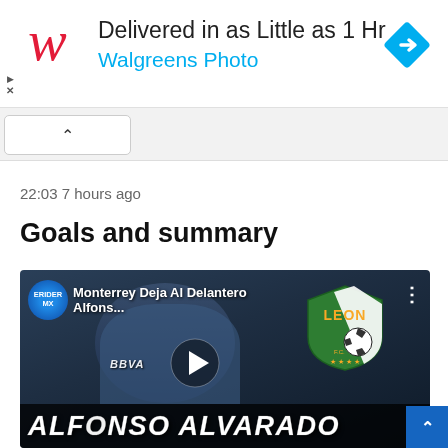[Figure (screenshot): Walgreens ad banner: red italic W logo, text 'Delivered in as Little as 1 Hr' and 'Walgreens Photo' in cyan, blue diamond navigation icon on right]
[Figure (screenshot): Browser tab/UI area with a collapse chevron button]
22:03 7 hours ago
Goals and summary
[Figure (screenshot): YouTube video thumbnail for 'Monterrey Deja Al Delantero Alfons...' by EriderMX channel, showing soccer player Alfonso Alvarado in Monterrey BBVA jersey with Leon FC logo overlay and large white text 'ALFONSO ALVARADO' at bottom]